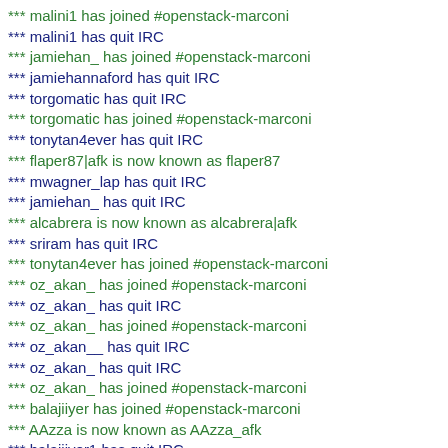*** malini1 has joined #openstack-marconi
*** malini1 has quit IRC
*** jamiehan_ has joined #openstack-marconi
*** jamiehannaford has quit IRC
*** torgomatic has quit IRC
*** torgomatic has joined #openstack-marconi
*** tonytan4ever has quit IRC
*** flaper87|afk is now known as flaper87
*** mwagner_lap has quit IRC
*** jamiehan_ has quit IRC
*** alcabrera is now known as alcabrera|afk
*** sriram has quit IRC
*** tonytan4ever has joined #openstack-marconi
*** oz_akan_ has joined #openstack-marconi
*** oz_akan_ has quit IRC
*** oz_akan_ has joined #openstack-marconi
*** oz_akan__ has quit IRC
*** oz_akan_ has quit IRC
*** oz_akan_ has joined #openstack-marconi
*** balajiiyer has joined #openstack-marconi
*** AAzza is now known as AAzza_afk
*** balajiiyer1 has quit IRC
*** balajiiyer1 has joined #openstack-marconi